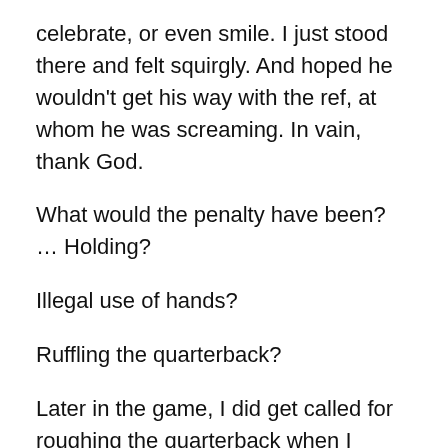celebrate, or even smile. I just stood there and felt squirgly. And hoped he wouldn't get his way with the ref, at whom he was screaming. In vain, thank God.
What would the penalty have been? … Holding?
Illegal use of hands?
Ruffling the quarterback?
Later in the game, I did get called for roughing the quarterback when I popped him in the face, trying to block his pass. That time (wisely) he didn't let go of the ball, and I pulled his flag. And the ref threw his. Still, the dude was so mad he kicked the ball into the stands — at which my 15-